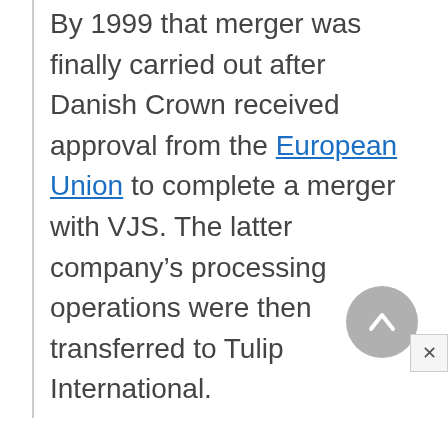By 1999 that merger was finally carried out after Danish Crown received approval from the European Union to complete a merger with VJS. The latter company's processing operations were then transferred to Tulip International.
[Figure (other): A circular grey scroll-to-top button with an upward chevron arrow, and a small close (x) button in the bottom-right corner of the page.]